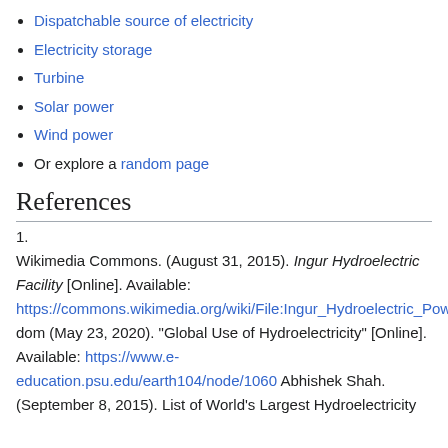Dispatchable source of electricity
Electricity storage
Turbine
Solar power
Wind power
Or explore a random page
References
1.
Wikimedia Commons. (August 31, 2015). Ingur Hydroelectric Facility [Online]. Available: https://commons.wikimedia.org/wiki/File:Ingur_Hydroelectric_Power_Station.jpg dom (May 23, 2020). "Global Use of Hydroelectricity" [Online]. Available: https://www.e-education.psu.edu/earth104/node/1060 Abhishek Shah. (September 8, 2015). List of World's Largest Hydroelectricity